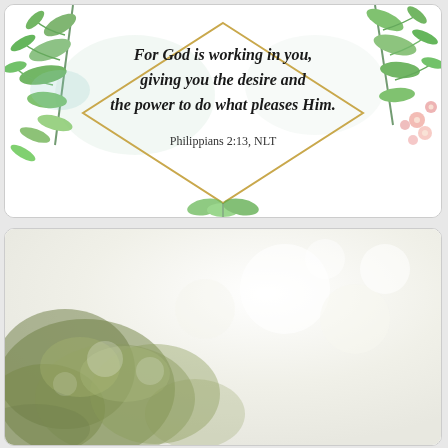[Figure (illustration): Bible verse card with botanical watercolor illustration. A gold geometric diamond frame surrounds handwritten-style text reading 'For God is working in you, giving you the desire and the power to do what pleases Him.' with attribution 'Philippians 2:13, NLT'. Green tropical leaves and pink flowers decorate the frame corners.]
[Figure (photo): Blurred outdoor photo showing soft bokeh of green foliage and trees against a light background, bottom portion of the page.]